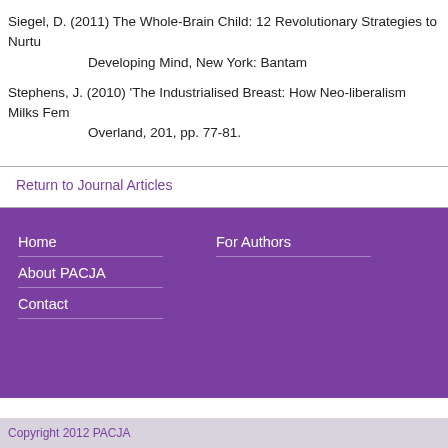Siegel, D. (2011) The Whole-Brain Child: 12 Revolutionary Strategies to Nurture Your Child's Developing Mind, New York: Bantam
Stephens, J. (2010) 'The Industrialised Breast: How Neo-liberalism Milks Feminism', Overland, 201, pp. 77-81.
Return to Journal Articles
Home
About PACJA
Contact
For Authors
Copyright 2012 PACJA